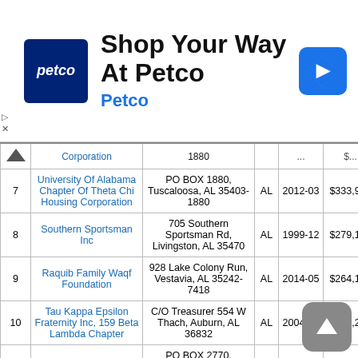[Figure (other): Petco advertisement banner with logo, 'Shop Your Way At Petco' headline, and navigation arrow icon]
| # | Organization Name | Address | ST | Ruling Date | Income Amount |
| --- | --- | --- | --- | --- | --- |
|  | Corporation | 1880 |  |  |  |
| 7 | University Of Alabama Chapter Of Theta Chi Housing Corporation | PO BOX 1880, Tuscaloosa, AL 35403-1880 | AL | 2012-03 | $333,999 |
| 8 | Southern Sportsman Inc | 705 Southern Sportsman Rd, Livingston, AL 35470 | AL | 1999-12 | $279,115 |
| 9 | Raquib Family Waqf Foundation | 928 Lake Colony Run, Vestavia, AL 35242-7418 | AL | 2014-05 | $264,171 |
| 10 | Tau Kappa Epsilon Fraternity Inc, 159 Beta Lambda Chapter | C/O Treasurer 554 W Thach, Auburn, AL 36832 | AL | 2004-02 | $213,247 |
| 11 | Shadow Barons | PO BOX 2770, Daphne, AL 36526-2770 | AL | 2001-04 | $…95 |
| 12 | Red Elephant Club Of Montgomery Inc | 407 S Mcdonough Street, Montgomery, AL | AL | 2011-03 | $132,755 |